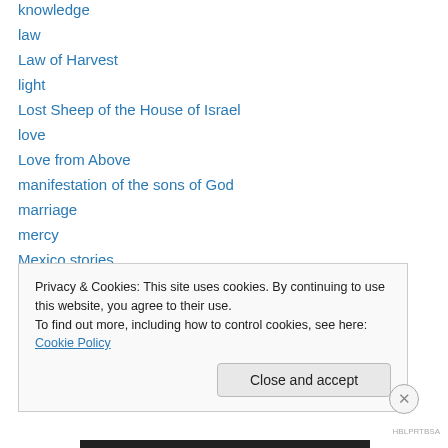knowledge
law
Law of Harvest
light
Lost Sheep of the House of Israel
love
Love from Above
manifestation of the sons of God
marriage
mercy
Mexico stories
mind of Christ
murder
Privacy & Cookies: This site uses cookies. By continuing to use this website, you agree to their use.
To find out more, including how to control cookies, see here: Cookie Policy
Close and accept